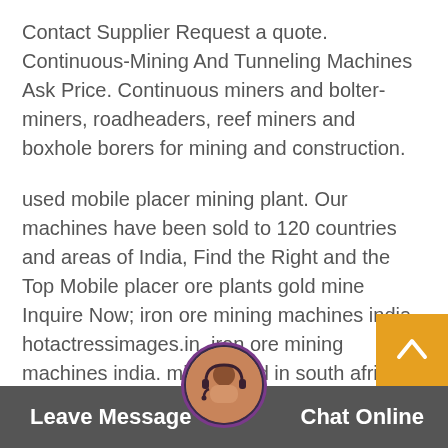Contact Supplier Request a quote. Continuous-Mining And Tunneling Machines Ask Price. Continuous miners and bolter-miners, roadheaders, reef miners and boxhole borers for mining and construction.
used mobile placer mining plant. Our machines have been sold to 120 countries and areas of India, Find the Right and the Top Mobile placer ore plants gold mine Inquire Now; iron ore mining machines india hotactressimages.in. iron ore mining machines india. mining gold in south africa elements and compound being mined.
Gold ore concentration plant plant layout in india 20 Mm 40 Mm Stone layout in india The Mining Machine is custom size 20 and 40 mm Pressure. Prices / Quote 20Mm 40 Stone Crusher Plant Layout on Youtube BINQ Mining Ore Process old ball mill, achine for sale; Print
Leave Message   Chat Online